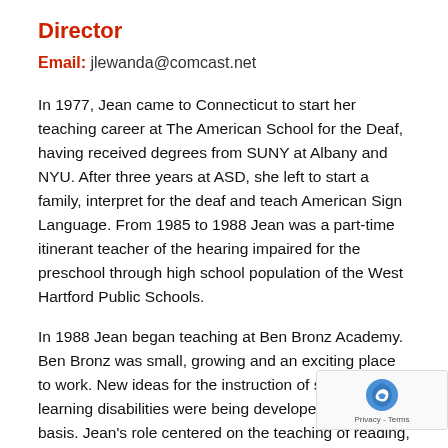Director
Email: jlewanda@comcast.net
In 1977, Jean came to Connecticut to start her teaching career at The American School for the Deaf, having received degrees from SUNY at Albany and NYU. After three years at ASD, she left to start a family, interpret for the deaf and teach American Sign Language. From 1985 to 1988 Jean was a part-time itinerant teacher of the hearing impaired for the preschool through high school population of the West Hartford Public Schools.
In 1988 Jean began teaching at Ben Bronz Academy. Ben Bronz was small, growing and an exciting place to work. New ideas for the instruction of students with learning disabilities were being developed on a daily basis. Jean's role centered on the teaching of reading, Instrumental Enrichment, and oral language skills.